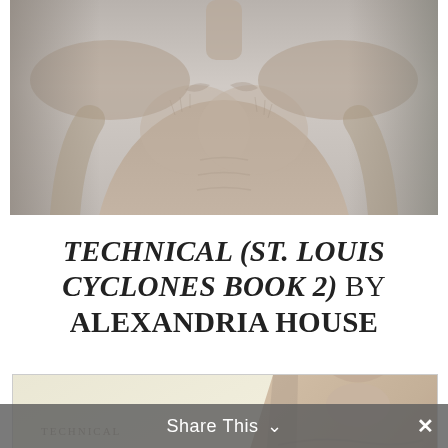[Figure (photo): Top portion of a man's torso with tattoos visible, faded/light gray tones, cropped at shoulder level]
TECHNICAL (ST. LOUIS CYCLONES BOOK 2) BY ALEXANDRIA HOUSE
[Figure (photo): Book cover for 'Technical' by Alexandria House showing large stylized letters CAL, cursive purple 'House' signature, and a man's neck/torso on the right side against a cream/beige background]